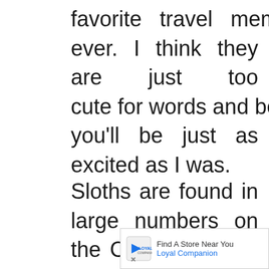favorite travel memories ever. I think they are just too cute for words and believe you'll be just as excited as I was.
Sloths are found in large numbers on the Caribbean side of the country, so you'll have an excellent chance of
[Figure (other): Advertisement banner for Loyal Companion store finder: 'Find A Store Near You' and 'Loyal Companion' in blue text with logo.]